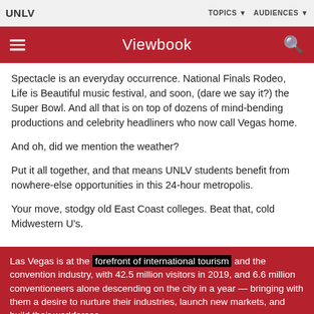UNLV | TOPICS | AUDIENCES
Viewbook
Spectacle is an everyday occurrence. National Finals Rodeo, Life is Beautiful music festival, and soon, (dare we say it?) the Super Bowl. And all that is on top of dozens of mind-bending productions and celebrity headliners who now call Vegas home.
And oh, did we mention the weather?
Put it all together, and that means UNLV students benefit from nowhere-else opportunities in this 24-hour metropolis.
Your move, stodgy old East Coast colleges. Beat that, cold Midwestern U's.
Las Vegas is at the forefront of international tourism and the convention industry, with 42.5 million visitors in 2019, and 6.6 million conventioneers alone descending on the city in a year — bringing with them a desire to nurture their industries, launch new markets, and build their workforces.